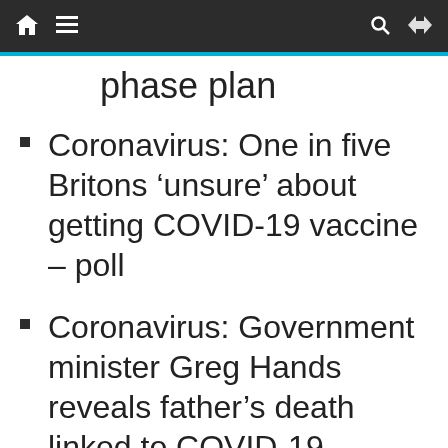[navigation bar with home, menu, search, shuffle icons]
phase plan
Coronavirus: One in five Britons ‘unsure’ about getting COVID-19 vaccine – poll
Coronavirus: Government minister Greg Hands reveals father’s death linked to COVID-19